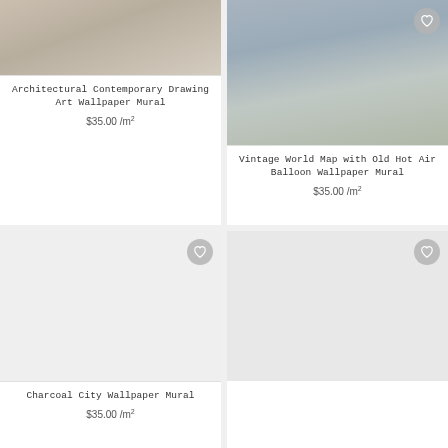[Figure (photo): Bedroom interior with wooden floor and white bedding - Architectural Contemporary Drawing Art Wallpaper Mural product card]
Architectural Contemporary Drawing Art Wallpaper Mural
$35.00 /m²
[Figure (photo): Room interior with vintage world map mural on wall, dresser and decor - Vintage World Map with Old Hot Air Balloon Wallpaper Mural product card]
Vintage World Map with Old Hot Air Balloon Wallpaper Mural
$35.00 /m²
[Figure (photo): White/blank area for Charcoal City Wallpaper Mural product card]
Charcoal City Wallpaper Mural
$35.00 /m²
[Figure (photo): Partially visible fourth product card with white/blank image area]